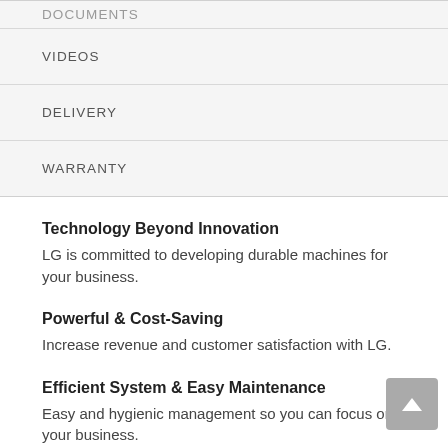DOCUMENTS
VIDEOS
DELIVERY
WARRANTY
Technology Beyond Innovation
LG is committed to developing durable machines for your business.
Powerful & Cost-Saving
Increase revenue and customer satisfaction with LG.
Efficient System & Easy Maintenance
Easy and hygienic management so you can focus on your business.